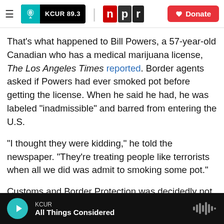KCUR 89.3 | npr | Donate
That's what happened to Bill Powers, a 57-year-old Canadian who has a medical marijuana license, The Los Angeles Times reported. Border agents asked if Powers had ever smoked pot before getting the license. When he said he had, he was labeled "inadmissible" and barred from entering the U.S.
"I thought they were kidding," he told the newspaper. "They're treating people like terrorists when all we did was admit to smoking some pot."
Customs and Border Protection was decidedly not
KCUR — All Things Considered